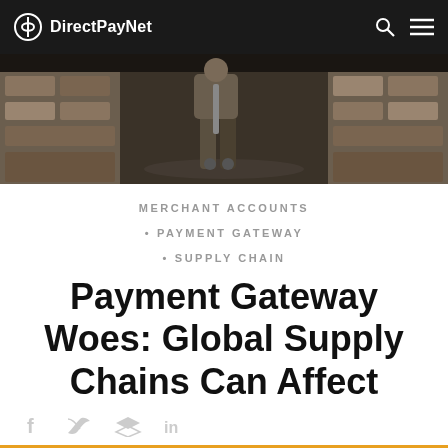DirectPayNet
[Figure (photo): Person walking in a warehouse with a hand truck, shelves of boxes visible on both sides, dark industrial atmosphere]
MERCHANT ACCOUNTS
• PAYMENT GATEWAY
• SUPPLY CHAIN
Payment Gateway Woes: Global Supply Chains Can Affect
Social share icons: Facebook, Twitter, Buffer, LinkedIn